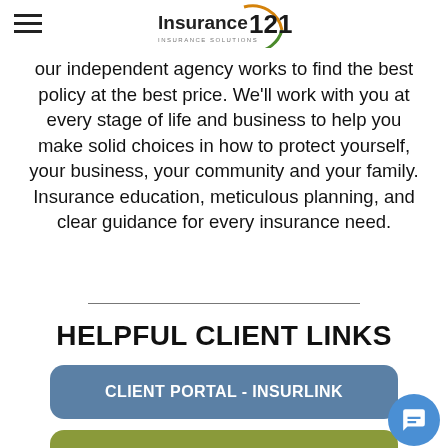[Figure (logo): Insurance 121 Insurance Solutions logo with circular arrow graphic in orange and green]
our independent agency works to find the best policy at the best price. We'll work with you at every stage of life and business to help you make solid choices in how to protect yourself, your business, your community and your family. Insurance education, meticulous planning, and clear guidance for every insurance need.
HELPFUL CLIENT LINKS
CLIENT PORTAL - INSURLINK
EPAY POLICY QUICK LINK